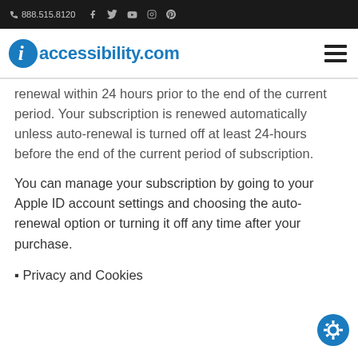888.515.8120
[Figure (logo): iaccessibility.com logo with blue italic i icon and blue text]
renewal within 24 hours prior to the end of the current period. Your subscription is renewed automatically unless auto-renewal is turned off at least 24-hours before the end of the current period of subscription.
You can manage your subscription by going to your Apple ID account settings and choosing the auto-renewal option or turning it off any time after your purchase.
▪ Privacy and Cookies